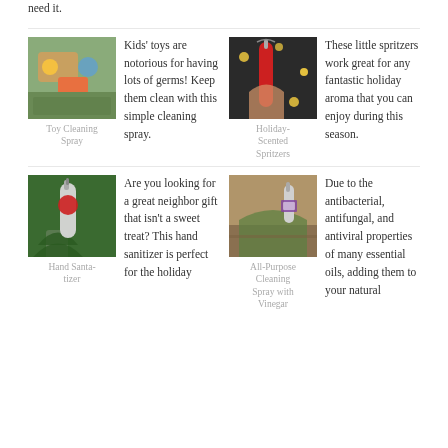need it.
[Figure (photo): Child playing with colorful toys on the floor]
Toy Cleaning Spray
Kids' toys are notorious for having lots of germs! Keep them clean with this simple cleaning spray.
[Figure (photo): Hand holding a red spray bottle with holiday lights in background]
Holiday-Scented Spritzers
These little spritzers work great for any fantastic holiday aroma that you can enjoy during this season.
[Figure (photo): Spray bottle with essential oils among green pine branches]
Hand Santa-tizer
Are you looking for a great neighbor gift that isn't a sweet treat? This hand sanitizer is perfect for the holiday
[Figure (photo): Hands spraying all-purpose cleaning spray on a surface]
All-Purpose Cleaning Spray with Vinegar
Due to the antibacterial, antifungal, and antiviral properties of many essential oils, adding them to your natural